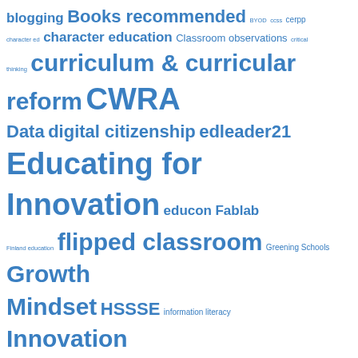[Figure (infographic): Tag cloud / word cloud with education-related terms in various font sizes, all in blue. Larger words indicate higher frequency/importance. Terms include: blogging, Books recommended, BYOD, ccss, cerpp, character ed, character education, Classroom observations, critical thinking, curriculum & curricular reform, CWRA, Data, digital citizenship, edleader21, Educating for Innovation, educon, Fablab, Finland education, flipped classroom, Greening Schools, Growth Mindset, HSSSE, information literacy, Innovation, Innovative schools, Laptops in Learning, Leadership ed., learning analytics, learning by doing, MAP, Marzano, NAIS, Networked Learning, newtechnetwork, next-gen assmt, NPEA, OESIS, open computer testing, PARCC, parenting, PBL]